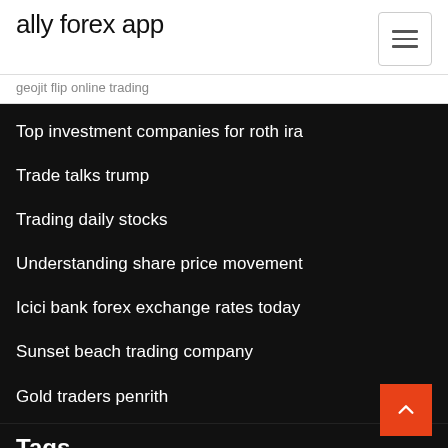ally forex app
geojit flip online trading
Top investment companies for roth ira
Trade talks trump
Trading daily stocks
Understanding share price movement
Icici bank forex exchange rates today
Sunset beach trading company
Gold traders penrith
Tags